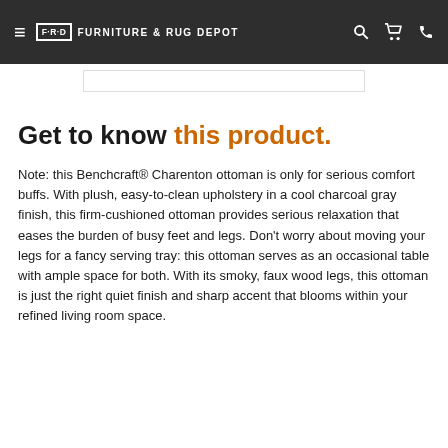F·R·D FURNITURE & RUG DEPOT
Get to know this product.
Note: this Benchcraft® Charenton ottoman is only for serious comfort buffs. With plush, easy-to-clean upholstery in a cool charcoal gray finish, this firm-cushioned ottoman provides serious relaxation that eases the burden of busy feet and legs. Don't worry about moving your legs for a fancy serving tray: this ottoman serves as an occasional table with ample space for both. With its smoky, faux wood legs, this ottoman is just the right quiet finish and sharp accent that blooms within your refined living room space.